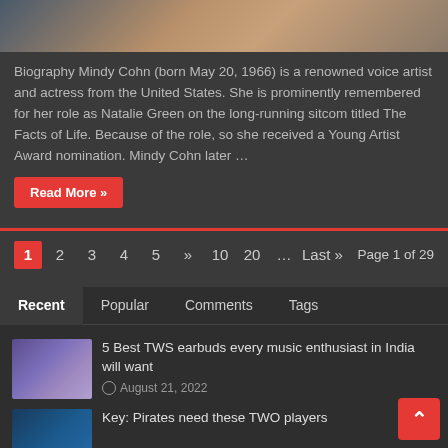[Figure (photo): Top image showing a person in a plaid/flannel shirt, partially cropped]
Biography Mindy Cohn (born May 20, 1966) is a renowned voice artist and actress from the United States. She is prominently remembered for her role as Natalie Green on the long-running sitcom titled The Facts of Life. Because of the role, so she received a Young Artist Award nomination. Mindy Cohn later …
Read More »
1  2  3  4  5  »  10  20  ...  Last »  Page 1 of 29
Recent  Popular  Comments  Tags
[Figure (photo): Thumbnail of a person with afro hair singing/performing against purple background]
5 Best TWS earbuds every music enthusiast in India will want
August 21, 2022
[Figure (photo): Thumbnail of a sports/baseball related image with blue tones]
Key: Pirates need these TWO players